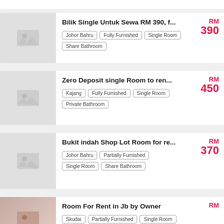Bilik Single Untuk Sewa RM 390, f... | Johor Bahru | Fully Furnished | Single Room | Share Bathroom | RM 390
Zero Deposit single Room to ren... | Kajang | Fully Furnished | Single Room | Private Bathroom | RM 450
Bukit indah Shop Lot Room for re... | Johor Bahru | Partially Furnished | Single Room | Share Bathroom | RM 370
Room For Rent in Jb by Owner | Skudai | Partially Furnished | Single Room | RM 220